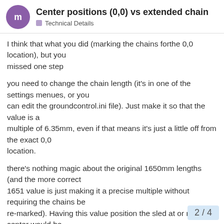Center positions (0,0) vs extended chain – Technical Details
I think that what you did (marking the chains forthe 0,0 location), but you
missed one step
you need to change the chain length (it's in one of the settings menues, or you
can edit the groundcontrol.ini file). Just make it so that the value is a
multiple of 6.35mm, even if that means it's just a little off from the exact 0,0
location.
there's nothing magic about the original 1650mm lengths (and the more correct
1651 value is just making it a precise multiple without requiring the chains be
re-marked). Having this value position the sled at or near the center would be
an improvement IMHO.
2 / 4